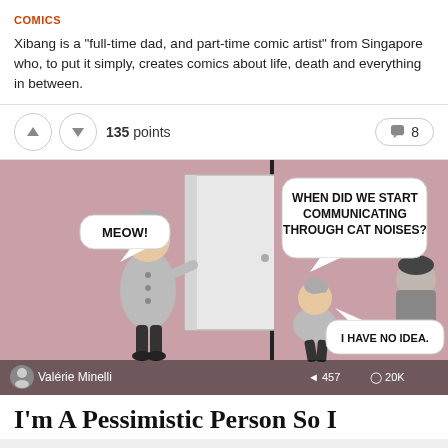COMICS
Xibang is a "full-time dad, and part-time comic artist" from Singapore who, to put it simply, creates comics about life, death and everything in between.
135 points  8
[Figure (illustration): Two-panel comic strip on a mauve/dusty pink background. Left panel: a woman in a grey coat opens a white door and says 'MEOW!' in a speech bubble. Bottom shows user avatar for Valérie Minelli. Right panel: same woman sitting, looking at a dark-haired person. Speech bubble from top reads 'WHEN DID WE START COMMUNICATING THROUGH CAT NOISES?' and speech bubble from bottom right reads 'I HAVE NO IDEA.' Bottom right shows share icon with 457 and eye icon with 20K.]
I'm A Pessimistic Person So I